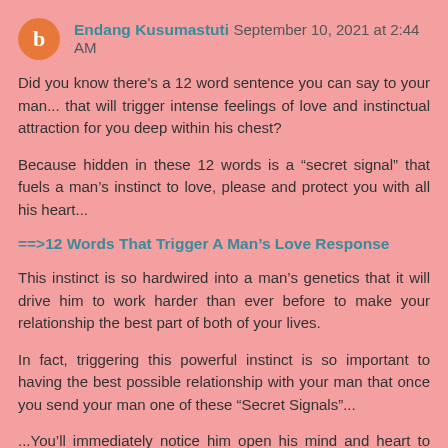Endang Kusumastuti September 10, 2021 at 2:44 AM
Did you know there's a 12 word sentence you can say to your man... that will trigger intense feelings of love and instinctual attraction for you deep within his chest?
Because hidden in these 12 words is a "secret signal" that fuels a man's instinct to love, please and protect you with all his heart...
==>12 Words That Trigger A Man's Love Response
This instinct is so hardwired into a man's genetics that it will drive him to work harder than ever before to make your relationship the best part of both of your lives.
In fact, triggering this powerful instinct is so important to having the best possible relationship with your man that once you send your man one of these “Secret Signals”...
...You'll immediately notice him open his mind and heart to you in a way he's never experienced before and he'll see